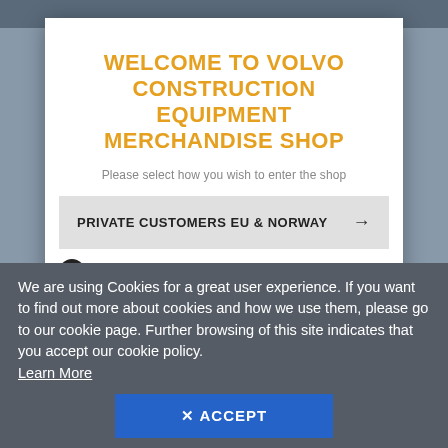WELCOME TO VOLVO CONSTRUCTION EQUIPMENT MERCHANDISE SHOP
Please select how you wish to enter the shop
PRIVATE CUSTOMERS EU & NORWAY →
VOLVO GROUP EMPLOYEES EU →
We are using Cookies for a great user experience. If you want to find out more about cookies and how we use them, please go to our cookie page. Further browsing of this site indicates that you accept our cookie policy.
Learn More
✕ ACCEPT